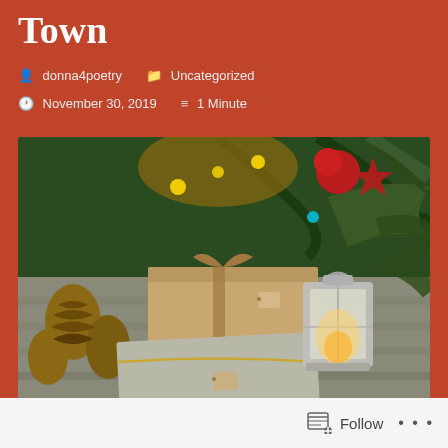Town
donna4poetry   Uncategorized   November 30, 2019   1 Minute
[Figure (photo): Christmas gifts wrapped in beige/silver paper with twine bows and tags, pine cones, green pine branches, red ornaments, fairy lights, and a lit metal lantern arranged on a wooden surface.]
Follow ...